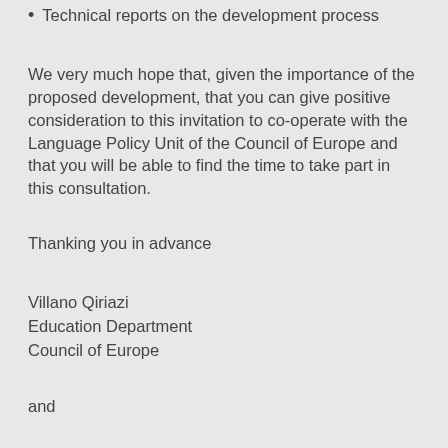Technical reports on the development process
We very much hope that, given the importance of the proposed development, that you can give positive consideration to this invitation to co-operate with the Language Policy Unit of the Council of Europe and that you will be able to find the time to take part in this consultation.
Thanking you in advance
Villano Qiriazi
Education Department
Council of Europe
and
Brian North, Eurocentres Foundation
Project Coordinator